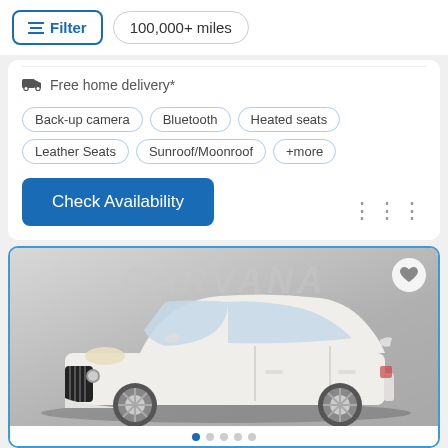Filter | 100,000+ miles
Free home delivery*
Back-up camera
Bluetooth
Heated seats
Leather Seats
Sunroof/Moonroof
+more
Check Availability
[Figure (photo): White Buick Verano sedan photographed from a front three-quarter angle on a grey background, with a CARVANA watermark in the background. A heart/favorite icon is visible in the top-right corner. Navigation dots appear at the bottom.]